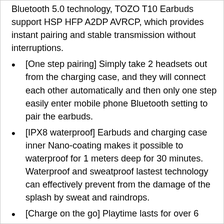Bluetooth 5.0 technology, TOZO T10 Earbuds support HSP HFP A2DP AVRCP, which provides instant pairing and stable transmission without interruptions.
[One step pairing] Simply take 2 headsets out from the charging case, and they will connect each other automatically and then only one step easily enter mobile phone Bluetooth setting to pair the earbuds.
[IPX8 waterproof] Earbuds and charging case inner Nano-coating makes it possible to waterproof for 1 meters deep for 30 minutes. Waterproof and sweatproof lastest technology can effectively prevent from the damage of the splash by sweat and raindrops.
[Charge on the go] Playtime lasts for over 6 hours from single charge and total 30 hours with charging case. Enjoy fast charging,
to fully charge the rechargerable case only 1.5 hours via fast charge USB-C
cable or less than 2 hours via wireless charger.
Providing convenient charging way with no strings